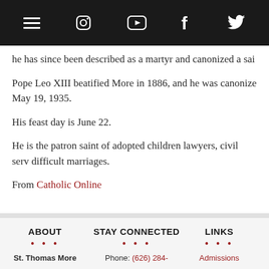Navigation bar with hamburger menu, Instagram, YouTube, Facebook, and Twitter icons
he has since been described as a martyr and canonized a sai
Pope Leo XIII beatified More in 1886, and he was canonize May 19, 1935.
His feast day is June 22.
He is the patron saint of adopted children lawyers, civil serv difficult marriages.
From Catholic Online
ABOUT • STAY CONNECTED • LINKS | St. Thomas More   Phone: (626) 284-   Admissions